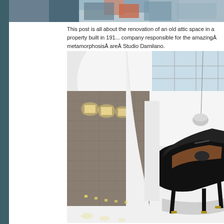[Figure (photo): Partial top image showing colorful abstract or architectural detail]
This post is all about the renovation of an old attic space in a property built in 191... company responsible for the amazingÂ metamorphosisÂ areÂ Studio Damilano.
[Figure (photo): Interior architectural photo of a renovated attic space with white curved ceiling, large skylight, textured stone wall with wall sconces, glossy white floor, and a black grand piano in the center. A pendant lamp hangs from above.]